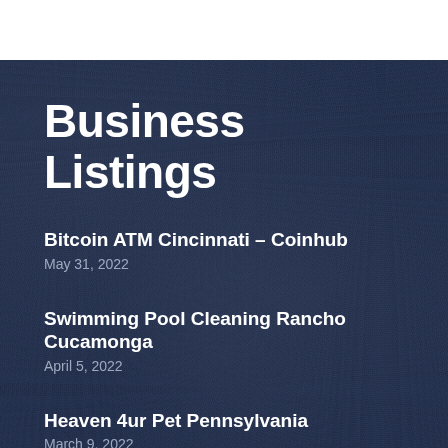Business Listings
Bitcoin ATM Cincinnati – Coinhub
May 31, 2022
Swimming Pool Cleaning Rancho Cucamonga
April 5, 2022
Heaven 4ur Pet Pennsylvania
March 9, 2022